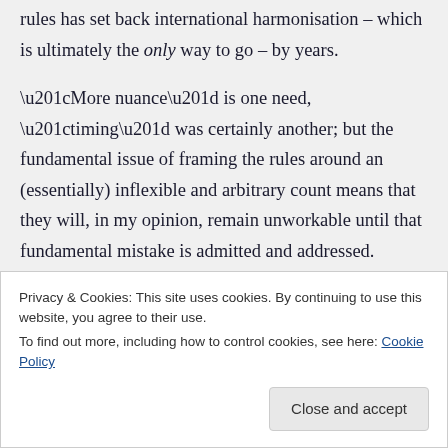rules has set back international harmonisation – which is ultimately the only way to go – by years.

"More nuance" is one need, "timing" was certainly another; but the fundamental issue of framing the rules around an (essentially) inflexible and arbitrary count means that they will, in my opinion, remain unworkable until that fundamental mistake is admitted and addressed.
Privacy & Cookies: This site uses cookies. By continuing to use this website, you agree to their use.
To find out more, including how to control cookies, see here: Cookie Policy